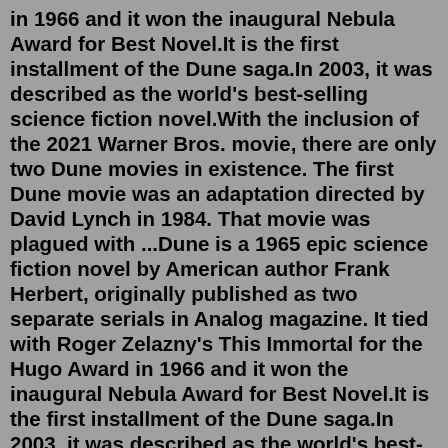in 1966 and it won the inaugural Nebula Award for Best Novel.It is the first installment of the Dune saga.In 2003, it was described as the world's best-selling science fiction novel.With the inclusion of the 2021 Warner Bros. movie, there are only two Dune movies in existence. The first Dune movie was an adaptation directed by David Lynch in 1984. That movie was plagued with ...Dune is a 1965 epic science fiction novel by American author Frank Herbert, originally published as two separate serials in Analog magazine. It tied with Roger Zelazny's This Immortal for the Hugo Award in 1966 and it won the inaugural Nebula Award for Best Novel.It is the first installment of the Dune saga.In 2003, it was described as the world's best-selling science fiction novel.2 2.How much of the book does the movie Dune (2021) cover? 3 3.What Is 'Dune' 2021 Movie About & Based on? 'Dune' Book Summary; 4 4.beginner's guide to the Dune books and movies – GamesRadar; 5 5.How many Dune books does Dune: Part One cover? – Quora; 6 6.An Explainer on the 'Dune' Books & Why...